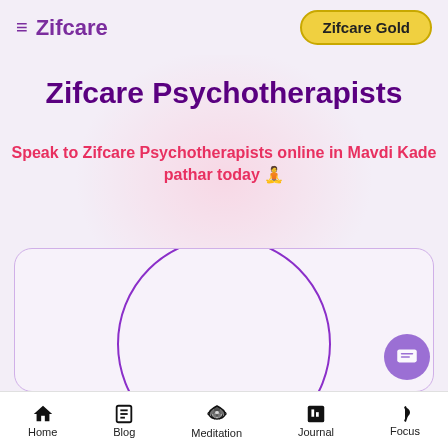Zifcare
Zifcare Psychotherapists
Speak to Zifcare Psychotherapists online in Mavdi Kade pathar today 🧘
[Figure (screenshot): Card with a large circle outline representing a therapist profile placeholder, with a purple circular border on a light lavender background]
[Figure (other): Purple circular chat/message button in bottom right]
Home   Blog   Meditation   Journal   Focus